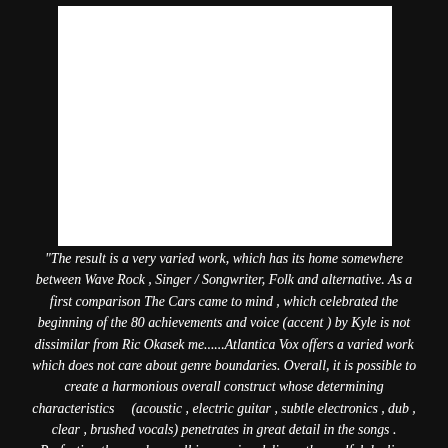[Figure (photo): White rectangular image placeholder area on dark background]
"The result is a very varied work, which has its home somewhere between Wave Rock , Singer / Songwriter, Folk and alternative. As a first comparison The Cars came to mind , which celebrated the beginning of the 80 achievements and voice (accent ) by Kyle is not dissimilar from Ric Okasek me......Atlantica Vox offers a varied work which does not care about genre boundaries. Overall, it is possible to create a harmonious overall construct whose determining characteristics    (acoustic , electric guitar , subtle electronics , dub , clear , brushed vocals) penetrates in great detail in the songs . Perfecting the good overall impression delivers the soulful dealing with seductive melody lines whose subtlety is